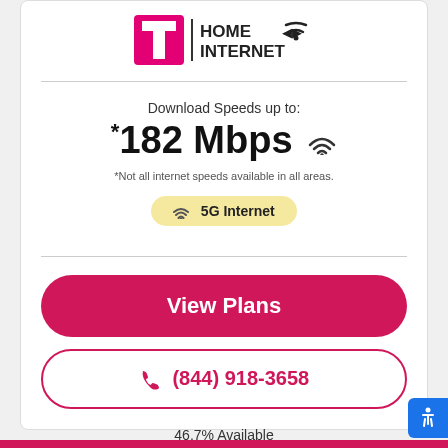[Figure (logo): T-Mobile Home Internet logo with magenta T and home internet text]
Download Speeds up to:
*182 Mbps
*Not all internet speeds available in all areas.
5G Internet
View Plans
(844) 918-3658
46.7% Available